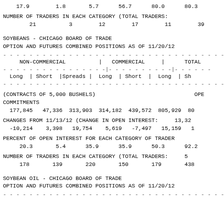17.9    1.8    5.7    56.7    80.0    80.3
NUMBER OF TRADERS IN EACH CATEGORY (TOTAL TRADERS:
21    3    12    17    11    39
SOYBEANS - CHICAGO BOARD OF TRADE
OPTION AND FUTURES COMBINED POSITIONS AS OF 11/20/12
| NON-COMMERCIAL | COMMERCIAL | TOTAL |
| --- | --- | --- |
| Long | Short |Spreads | Long | Short | Long | Sh |
(CONTRACTS OF 5,000 BUSHELS)                              OPEN
COMMITMENTS
177,845  47,336  313,903  314,182  439,572  805,929  80
CHANGES FROM 11/13/12 (CHANGE IN OPEN INTEREST:     13,32
 -10,214   3,398   19,754    5,619   -7,497   15,159   1
PERCENT OF OPEN INTEREST FOR EACH CATEGORY OF TRADER
   20.3      5.4     35.9     35.9     50.3     92.2
NUMBER OF TRADERS IN EACH CATEGORY (TOTAL TRADERS:     5
   178      139      220      150      179      438
SOYBEAN OIL - CHICAGO BOARD OF TRADE
OPTION AND FUTURES COMBINED POSITIONS AS OF 11/20/12